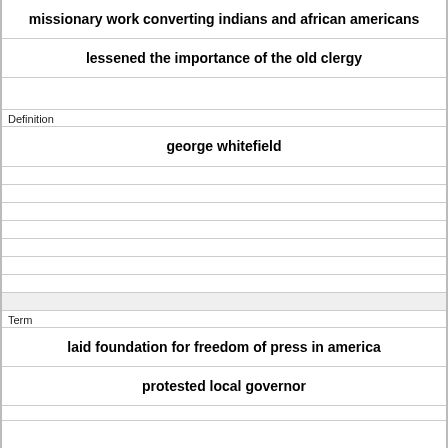missionary work converting indians and african americans
lessened the importance of the old clergy
Definition
george whitefield
Term
laid foundation for freedom of press in america
protested local governor